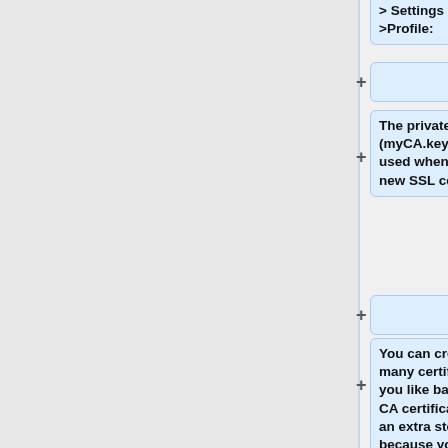> Settings
>Profile:
The private key file (myCA.key) is only used when creating new SSL certificates.
You can create as many certificates as you like based on this CA certificate. There's an extra step involved because you have to create a CSR...